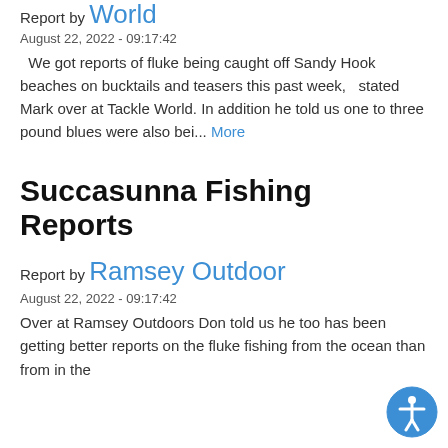Report by Tackle World
August 22, 2022 - 09:17:42
We got reports of fluke being caught off Sandy Hook beaches on bucktails and teasers this past week,   stated Mark over at Tackle World. In addition he told us one to three pound blues were also bei... More
Succasunna Fishing Reports
Report by Ramsey Outdoor
August 22, 2022 - 09:17:42
Over at Ramsey Outdoors Don told us he too has been getting better reports on the fluke fishing from the ocean than from in the